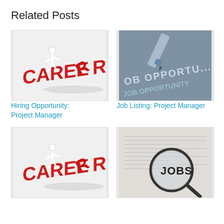Related Posts
[Figure (photo): Career image showing red 3D letters spelling CAREER with a white figure walking on top]
Hiring Opportunity: Project Manager
[Figure (photo): Close-up photo of dark textured surface with text JOB OPPORTU... and a pen]
Job Listing: Project Manager
[Figure (photo): Career image showing red 3D letters spelling CAREER with a white figure walking on top]
[Figure (photo): Newspaper classifieds with a magnifying glass showing the word JOBS]